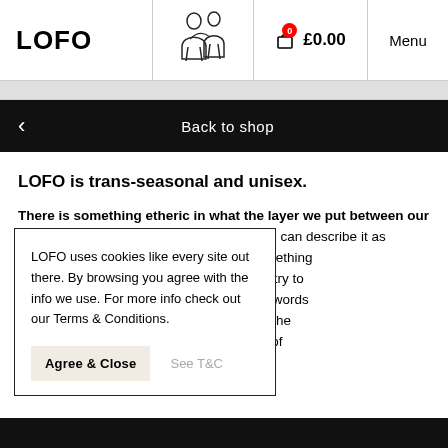LOFO | [illustration] | £0.00 | Menu
Back to shop
LOFO is trans-seasonal and unisex.
There is something etheric in what the layer we put between our skin and the outside world signifies. You can describe it as tionality, as art, but something f course that when you try to re astray. And perhaps words h a definition. Perhaps the d perhaps it's a matter of elusive definition.
LOFO uses cookies like every site out there. By browsing you agree with the info we use. For more info check out our Terms & Conditions.
Agree & Close   See T&C